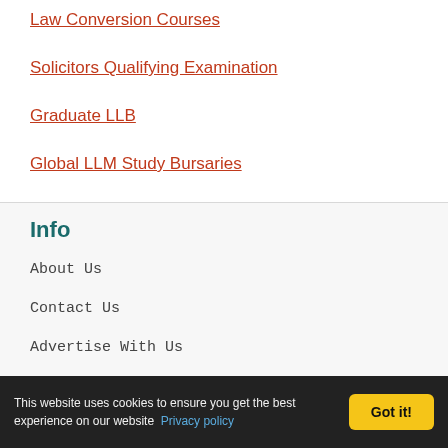Law Conversion Courses
Solicitors Qualifying Examination
Graduate LLB
Global LLM Study Bursaries
Info
About Us
Contact Us
Advertise With Us
Privacy Policy
This website uses cookies to ensure you get the best experience on our website  Privacy policy  Got it!